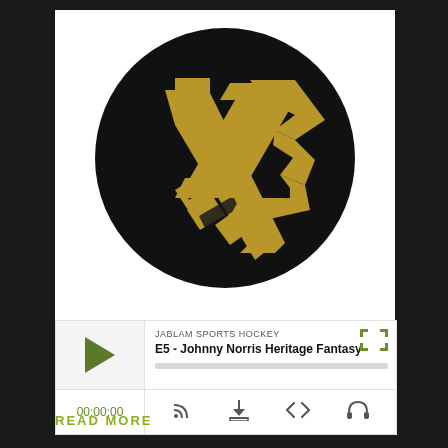[Figure (logo): JabLam Sports Hockey logo: black circle with gold/dark-yellow stylized 'JS' lettermark on white background]
[Figure (screenshot): Podcast player widget showing 'JABLAM SPORTS HOCKEY' label, episode 'E5 - Johnny Norris Heritage Fantasy', play button, timestamp 00:00:00, and player controls]
READ MORE